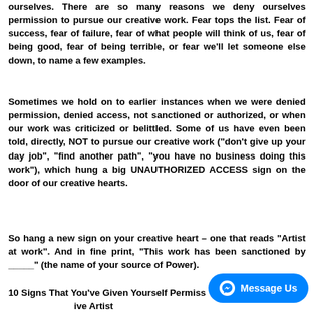ourselves. There are so many reasons we deny ourselves permission to pursue our creative work. Fear tops the list. Fear of success, fear of failure, fear of what people will think of us, fear of being good, fear of being terrible, or fear we'll let someone else down, to name a few examples.
Sometimes we hold on to earlier instances when we were denied permission, denied access, not sanctioned or authorized, or when our work was criticized or belittled. Some of us have even been told, directly, NOT to pursue our creative work ("don't give up your day job", "find another path", "you have no business doing this work"), which hung a big UNAUTHORIZED ACCESS sign on the door of our creative hearts.
So hang a new sign on your creative heart – one that reads "Artist at work". And in fine print, "This work has been sanctioned by _____" (the name of your source of Power).
10 Signs That You've Given Yourself Permission to Pursue the Creative Artist